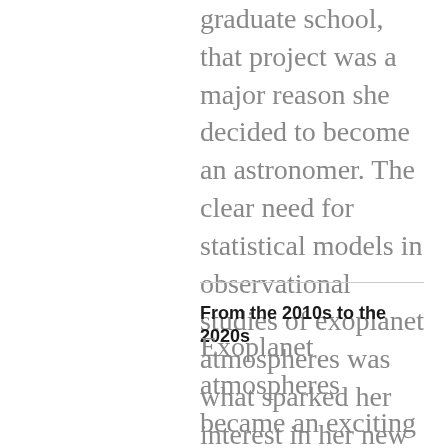graduate school, that project was a major reason she decided to become an astronomer. The clear need for statistical models in observational studies of exoplanet atmospheres was what sparked her interest in her new field as well.
From the 2010s to the 2020s
Exoplanet atmospheres became an exciting research field this past decade as the Hubble (optical and near-infrared) and